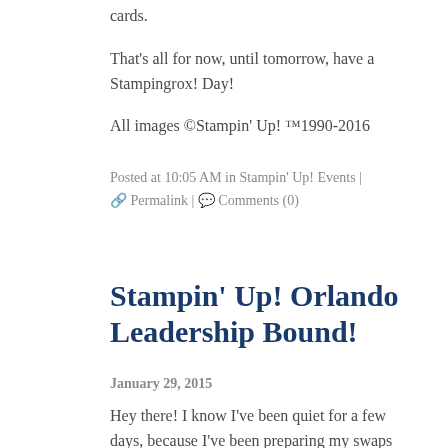cards.
That's all for now, until tomorrow, have a Stampingrox! Day!
All images ©Stampin' Up! ™1990-2016
Posted at 10:05 AM in Stampin' Up! Events | 🔗 Permalink | 💬 Comments (0)
Stampin' Up! Orlando Leadership Bound!
January 29, 2015
Hey there! I know I've been quiet for a few days, because I've been preparing my swaps